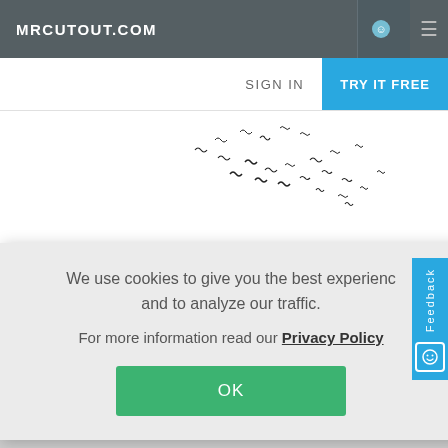MRCUTOUT.COM
SIGN IN
TRY IT FREE
[Figure (illustration): Scattered small black bird silhouettes flying across a white background]
We use cookies to give you the best experience and to analyze our traffic.

For more information read our Privacy Policy

OK
[Figure (other): Vertical feedback tab on the right side with 'Feedback' text and a smiley face icon]